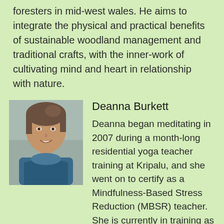foresters in mid-west wales. He aims to integrate the physical and practical benefits of sustainable woodland management and traditional crafts, with the inner-work of cultivating mind and heart in relationship with nature.
[Figure (photo): Portrait photo of Deanna Burkett, a woman with hair pulled back, wearing a blue fleece or jacket, smiling, with water or landscape in background.]
Deanna Burkett
Deanna began meditating in 2007 during a month-long residential yoga teacher training at Kripalu, and she went on to certify as a Mindfulness-Based Stress Reduction (MBSR) teacher. She is currently in training as an Insight Dialogue teacher and Somatic Experiencing (SE) practitioner, and she volunteers as an online meditation teacher for SMART